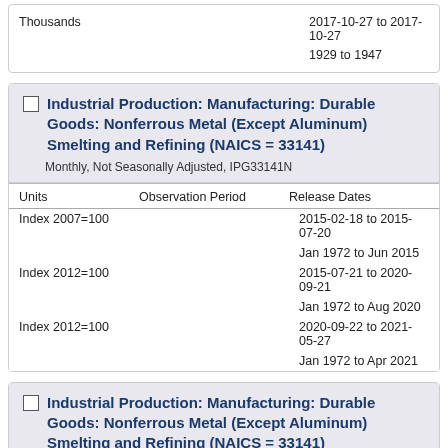| Units | Observation Period | Release Dates |
| --- | --- | --- |
| Thousands |  | 2017-10-27 to 2017-10-27 |
|  |  | 1929 to 1947 |
Industrial Production: Manufacturing: Durable Goods: Nonferrous Metal (Except Aluminum) Smelting and Refining (NAICS = 33141)
Monthly, Not Seasonally Adjusted, IPG33141N
| Units | Observation Period | Release Dates |
| --- | --- | --- |
| Index 2007=100 |  | 2015-02-18 to 2015-07-20 |
|  |  | Jan 1972 to Jun 2015 |
| Index 2012=100 |  | 2015-07-21 to 2020-09-21 |
|  |  | Jan 1972 to Aug 2020 |
| Index 2012=100 |  | 2020-09-22 to 2021-05-27 |
|  |  | Jan 1972 to Apr 2021 |
Industrial Production: Manufacturing: Durable Goods: Nonferrous Metal (Except Aluminum) Smelting and Refining (NAICS = 33141)
Quarterly, Not Seasonally Adjusted, IPG33141NS